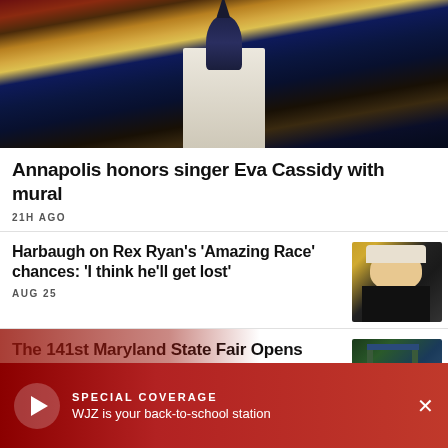[Figure (photo): Church steeple with blue sky and bare trees, warm autumn tones]
Annapolis honors singer Eva Cassidy with mural
21H AGO
Harbaugh on Rex Ryan's 'Amazing Race' chances: 'I think he'll get lost'
AUG 25
[Figure (photo): Man in baseball cap and black shirt speaking at press conference]
The 141st Maryland State Fair Opens Thursday
AUG 25
[Figure (photo): Ferris wheel or fairground ride at state fair]
SPECIAL COVERAGE
WJZ is your back-to-school station
Trade food donations